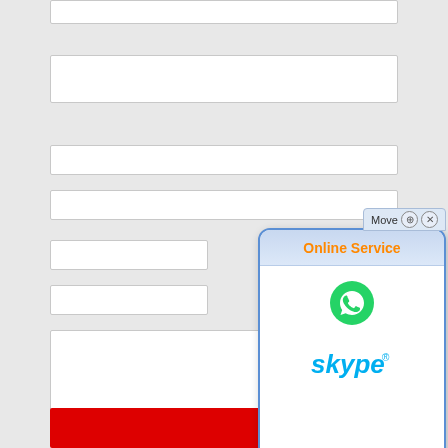[Figure (screenshot): A web form with multiple input fields and a textarea, with an Online Service popup widget showing WhatsApp and Skype icons overlaid on the right side. A red button is at the bottom of the form.]